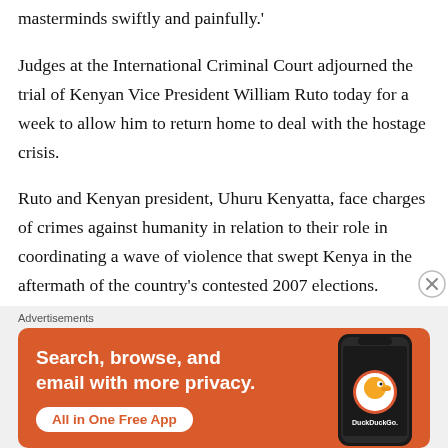masterminds swiftly and painfully.'
Judges at the International Criminal Court adjourned the trial of Kenyan Vice President William Ruto today for a week to allow him to return home to deal with the hostage crisis.
Ruto and Kenyan president, Uhuru Kenyatta, face charges of crimes against humanity in relation to their role in coordinating a wave of violence that swept Kenya in the aftermath of the country's contested 2007 elections.
[Figure (screenshot): DuckDuckGo advertisement banner with orange background, showing 'Search, browse, and email with more privacy. All in One Free App' text on the left and a phone with DuckDuckGo logo on the right.]